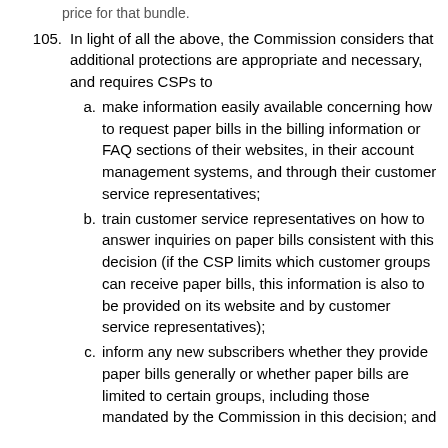price for that bundle.
105. In light of all the above, the Commission considers that additional protections are appropriate and necessary, and requires CSPs to
a. make information easily available concerning how to request paper bills in the billing information or FAQ sections of their websites, in their account management systems, and through their customer service representatives;
b. train customer service representatives on how to answer inquiries on paper bills consistent with this decision (if the CSP limits which customer groups can receive paper bills, this information is also to be provided on its website and by customer service representatives);
c. inform any new subscribers whether they provide paper bills generally or whether paper bills are limited to certain groups, including those mandated by the Commission in this decision; and